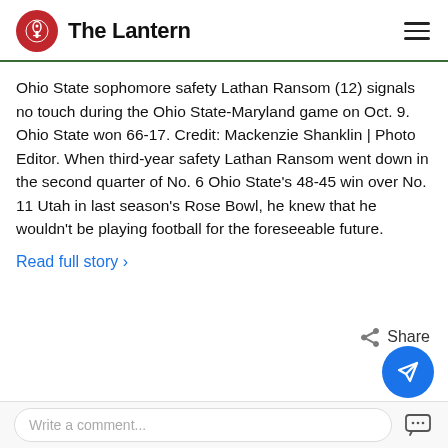The Lantern
Ohio State sophomore safety Lathan Ransom (12) signals no touch during the Ohio State-Maryland game on Oct. 9. Ohio State won 66-17. Credit: Mackenzie Shanklin | Photo Editor. When third-year safety Lathan Ransom went down in the second quarter of No. 6 Ohio State's 48-45 win over No. 11 Utah in last season's Rose Bowl, he knew that he wouldn't be playing football for the foreseeable future.
Read full story >